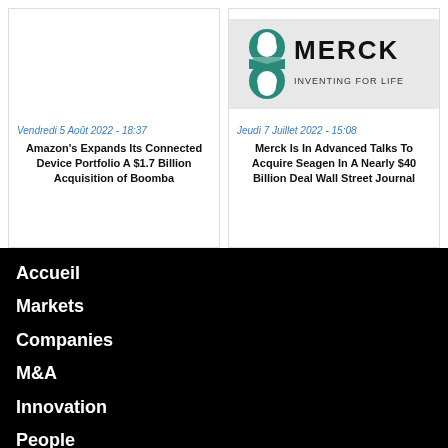[Figure (screenshot): News card for Amazon article - blank white image area, date 'Vendredi 5 Août 2022 - 18:37', headline 'Amazon's Expands Its Connected Device Portfolio A $1.7 Billion Acquisition of Boomba...']
[Figure (photo): Merck logo - MERCK INVENTING FOR LIFE with teal/green hourglass shape icon, news card with date 'Jeudi 7 Juillet 2022 - 15:08', headline 'Merck Is In Advanced Talks To Acquire Seagen In A Nearly $40 Billion Deal Wall Street Journal...']
Accueil
Markets
Companies
M&A
Innovation
People